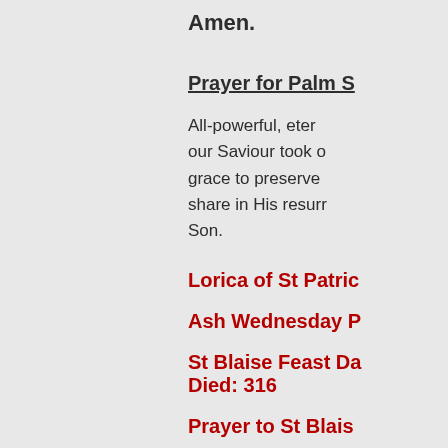Amen.
Prayer for Palm S
All-powerful, eter our Saviour took o grace to preserve share in His resurr Son.
Lorica of St Patric
Ash Wednesday P
St Blaise Feast Da Died: 316
Prayer to St Blais
Rosary Prayer on
Dear God, your gr